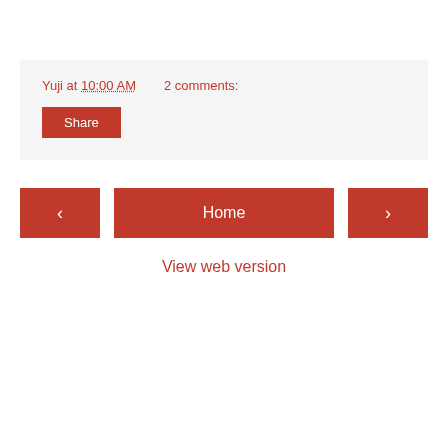Yuji at 10:00 AM    2 comments:
Share
‹
Home
›
View web version